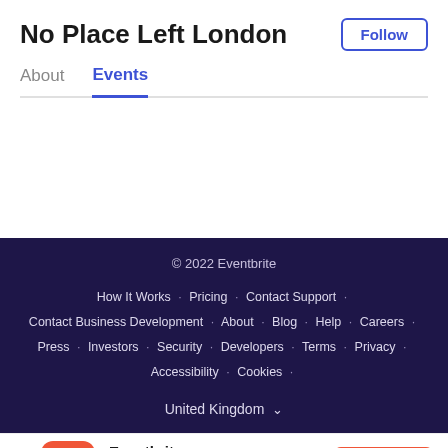No Place Left London
About   Events
© 2022 Eventbrite
How It Works · Pricing · Contact Support · Contact Business Development · About · Blog · Help · Careers · Press · Investors · Security · Developers · Terms · Privacy · Accessibility · Cookies ·
United Kingdom
Eventbrite
Keep track of your favorites
★★★★★ (148K)